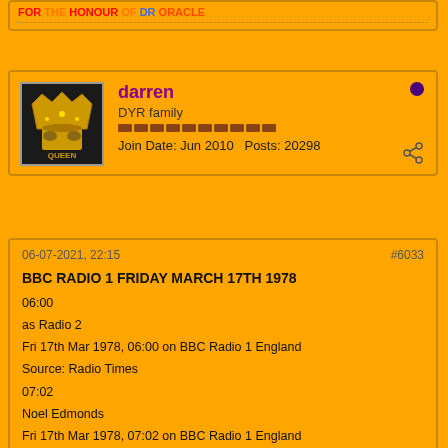FOR THE HONOUR OF DR ORACLE
darren
DYR family
Join Date: Jun 2010  Posts: 20298
06-07-2021, 22:15
#6033

BBC RADIO 1 FRIDAY MARCH 17TH 1978

06:00
as Radio 2
Fri 17th Mar 1978, 06:00 on BBC Radio 1 England
Source: Radio Times
07:02
Noel Edmonds
Fri 17th Mar 1978, 07:02 on BBC Radio 1 England
from Sauchiehall Street Pedestrian Precinct, Glasgow

Source: Radio Times
09:00
Simon Bates
Fri 17th Mar 1978, 09:00 on BBC Radio 1 England
including The Golden Hour